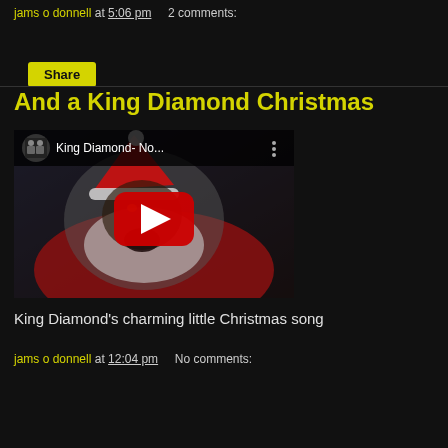jams o donnell at 5:06 pm   2 comments:
Share
And a King Diamond Christmas
[Figure (screenshot): YouTube video thumbnail for 'King Diamond- No...' showing a creepy Santa Claus figure with a red play button overlay and a small channel avatar in the top left.]
King Diamond's charming little Christmas song
jams o donnell at 12:04 pm   No comments: